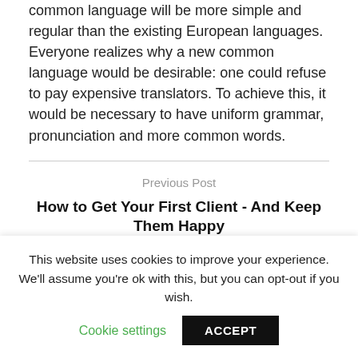common language will be more simple and regular than the existing European languages. Everyone realizes why a new common language would be desirable: one could refuse to pay expensive translators. To achieve this, it would be necessary to have uniform grammar, pronunciation and more common words.
Previous Post
How to Get Your First Client - And Keep Them Happy
Next Post
This website uses cookies to improve your experience. We'll assume you're ok with this, but you can opt-out if you wish.
Cookie settings
ACCEPT